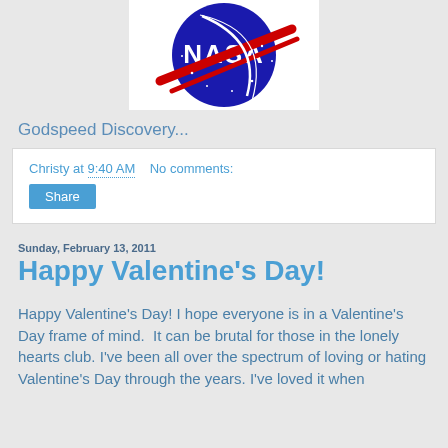[Figure (logo): NASA meatball logo — blue circle with red chevron and white NASA lettering, on white background]
Godspeed Discovery...
Christy at 9:40 AM   No comments:
Share
Sunday, February 13, 2011
Happy Valentine's Day!
Happy Valentine's Day! I hope everyone is in a Valentine's Day frame of mind.  It can be brutal for those in the lonely hearts club. I've been all over the spectrum of loving or hating Valentine's Day through the years. I've loved it when